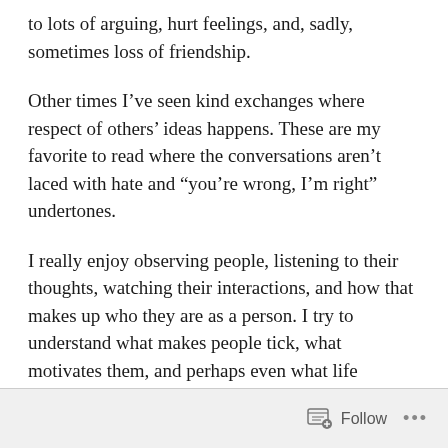to lots of arguing, hurt feelings, and, sadly, sometimes loss of friendship.
Other times I’ve seen kind exchanges where respect of others’ ideas happens. These are my favorite to read where the conversations aren’t laced with hate and “you’re wrong, I’m right” undertones.
I really enjoy observing people, listening to their thoughts, watching their interactions, and how that makes up who they are as a person. I try to understand what makes people tick, what motivates them, and perhaps even what life experiences led them to where they are
Follow